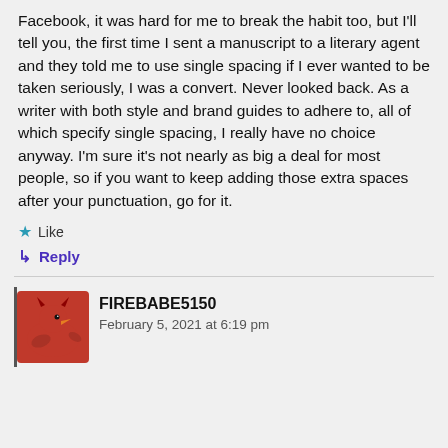Facebook, it was hard for me to break the habit too, but I'll tell you, the first time I sent a manuscript to a literary agent and they told me to use single spacing if I ever wanted to be taken seriously, I was a convert. Never looked back. As a writer with both style and brand guides to adhere to, all of which specify single spacing, I really have no choice anyway. I'm sure it's not nearly as big a deal for most people, so if you want to keep adding those extra spaces after your punctuation, go for it.
Like
Reply
FIREBABE5150
February 5, 2021 at 6:19 pm